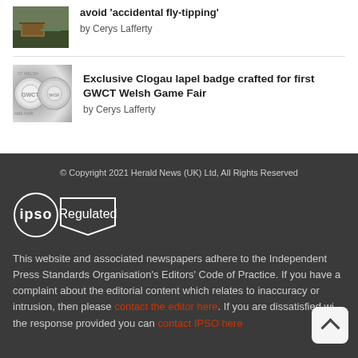avoid 'accidental fly-tipping'
by Cerys Lafferty
Exclusive Clogau lapel badge crafted for first GWCT Welsh Game Fair
by Cerys Lafferty
© Copyright 2021 Herald News (UK) Ltd, All Rights Reserved
[Figure (logo): IPSO Regulated logo — circle with 'ipso' text and pentagon badge shape with 'Regulated' text]
This website and associated newspapers adhere to the Independent Press Standards Organisation's Editors' Code of Practice. If you have a complaint about the editorial content which relates to inaccuracy or intrusion, then please contact the editor here. If you are dissatisfied with the response provided you can contact IPSO here.